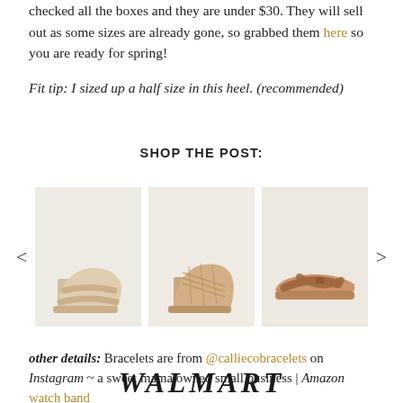checked all the boxes and they are under $30. They will sell out as some sizes are already gone, so grabbed them here so you are ready for spring!
Fit tip: I sized up a half size in this heel. (recommended)
SHOP THE POST:
[Figure (photo): Product carousel showing three women's sandals: a beige strappy block heel mule, a woven block heel mule in tan/blush, and a flat tan cross-strap sandal. Left and right navigation arrows flank the images.]
other details: Bracelets are from @calliecobracelets on Instagram ~ a sweet mama owned small business | Amazon watch band
WALMART